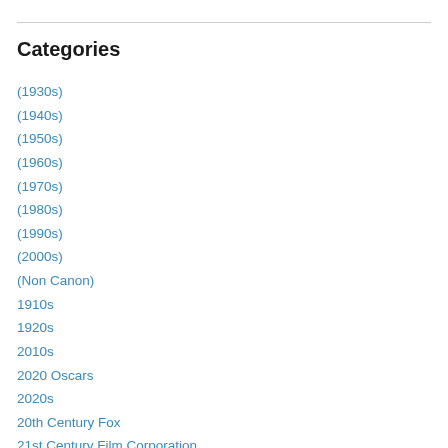Categories
(1930s)
(1940s)
(1950s)
(1960s)
(1970s)
(1980s)
(1990s)
(2000s)
(Non Canon)
1910s
1920s
2010s
2020 Oscars
2020s
20th Century Fox
21st Century Film Corporation